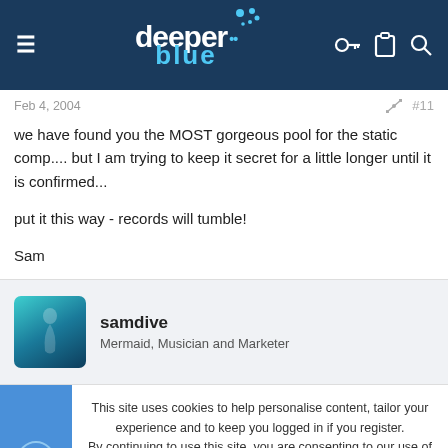[Figure (logo): DeeperBlue website header with logo, hamburger menu, and icons on dark blue background]
Feb 4, 2004  #11
we have found you the MOST gorgeous pool for the static comp.... but I am trying to keep it secret for a little longer until it is confirmed...

put it this way - records will tumble!

Sam
samdive
Mermaid, Musician and Marketer
This site uses cookies to help personalise content, tailor your experience and to keep you logged in if you register.
By continuing to use this site, you are consenting to our use of cookies.